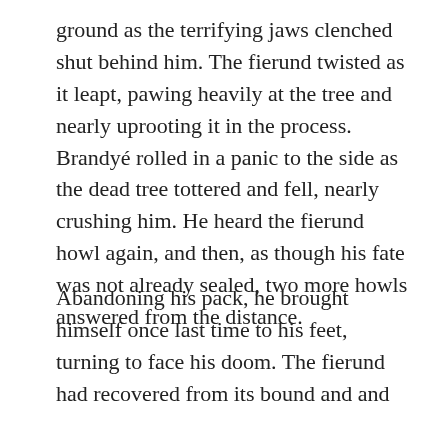ground as the terrifying jaws clenched shut behind him. The fierund twisted as it leapt, pawing heavily at the tree and nearly uprooting it in the process. Brandyé rolled in a panic to the side as the dead tree tottered and fell, nearly crushing him. He heard the fierund howl again, and then, as though his fate was not already sealed, two more howls answered from the distance.
Abandoning his pack, he brought himself once last time to his feet, turning to face his doom. The fierund had recovered from its bound and and